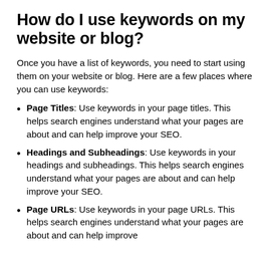How do I use keywords on my website or blog?
Once you have a list of keywords, you need to start using them on your website or blog. Here are a few places where you can use keywords:
Page Titles: Use keywords in your page titles. This helps search engines understand what your pages are about and can help improve your SEO.
Headings and Subheadings: Use keywords in your headings and subheadings. This helps search engines understand what your pages are about and can help improve your SEO.
Page URLs: Use keywords in your page URLs. This helps search engines understand what your pages are about and can help improve